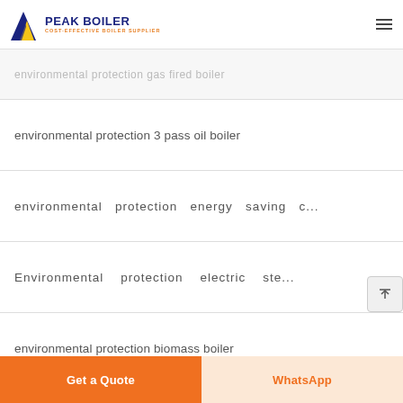PEAK BOILER — COST-EFFECTIVE BOILER SUPPLIER
environmental protection gas fired boiler
environmental protection 3 pass oil boiler
environmental protection energy saving c...
Environmental protection electric ste...
environmental protection biomass boiler
Get a Quote | WhatsApp